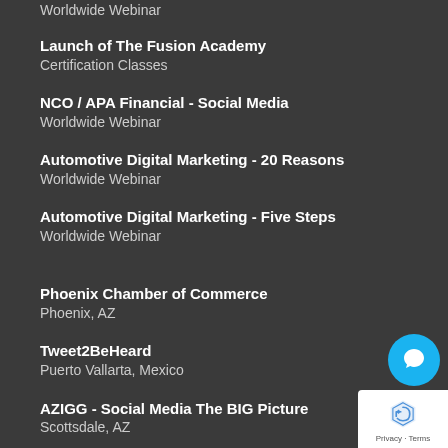Worldwide Webinar
Launch of The Fusion Academy
Certification Classes
NCO / APA Financial - Social Media
Worldwide Webinar
Automotive Digital Marketing - 20 Reasons
Worldwide Webinar
Automotive Digital Marketing - Five Steps
Worldwide Webinar
Phoenix Chamber of Commerce
Phoenix, AZ
Tweet2BeHeard
Puerto Vallarta, Mexico
AZIGG - Social Media The BIG Picture
Scottsdale, AZ